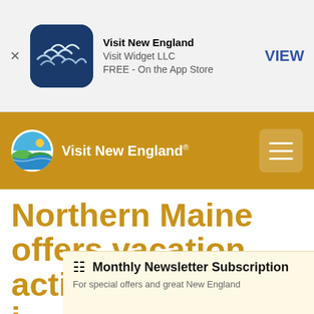[Figure (screenshot): App Store smart banner with Visit New England app icon, title, developer name, price, and VIEW button]
Visit New England · Visit Widget LLC · FREE - On the App Store · VIEW
[Figure (logo): Visit New England navigation bar with circular logo and hamburger menu]
Northern Maine offers vacation activities. i
Monthly Newsletter Subscription · For special offers and great New England